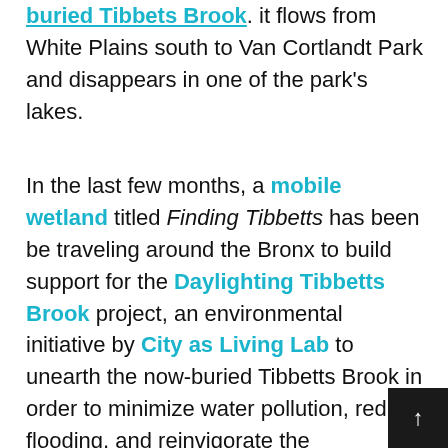buried Tibbets Brook. it flows from White Plains south to Van Cortlandt Park and disappears in one of the park's lakes.
In the last few months, a mobile wetland titled Finding Tibbetts has been be traveling around the Bronx to build support for the Daylighting Tibbetts Brook project, an environmental initiative by City as Living Lab to unearth the now-buried Tibbetts Brook in order to minimize water pollution, reduce flooding, and reinvigorate the surrounding ecosystem. Having already made a stop in Van Cortlandt Park last month, Finding Tibbetts will make multiple stops this month in the Bronx, on October 7th at Marble Hill and the 14th at the Bronx Green Fair, Church of the Mediator, specifically along the route of the stream, where visitors can see the model cross section of the brook, with water tubes, a real marsh, and an inhabitable